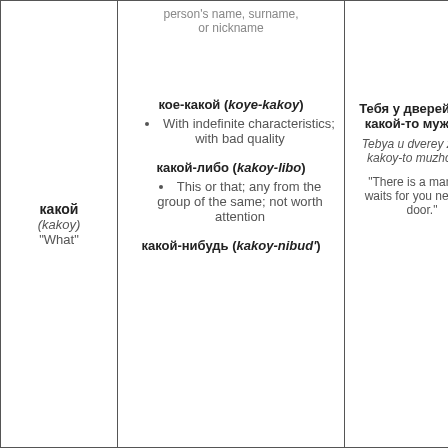| какой (kakoy) "What" | Usage/Forms | Examples |
| --- | --- | --- |
|  | person's name, surname, or nickname |  |
| какой (kakoy) "What" | кое-какой (koye-kakoy)
• With indefinite characteristics; with bad quality

какой-либо (kakoy-libo)
• This or that; any from the group of the same; not worth attention

какой-нибудь (kakoy-nibud') | Тебя у дверей ждёт какой-то мужчина
Tebya u dverey zhdyot kakoy-to muzhchina.
"There is a man that waits for you near the door." |